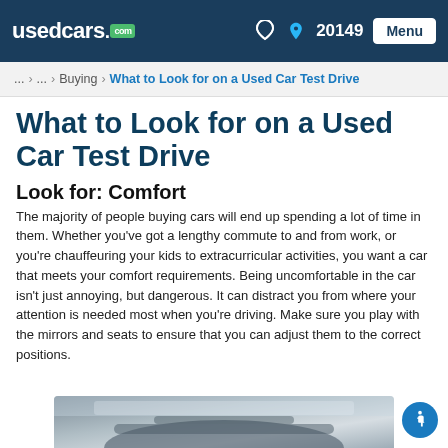usedcars.com  ♡  📍  20149  Menu
... > ... > Buying > What to Look for on a Used Car Test Drive
What to Look for on a Used Car Test Drive
Look for: Comfort
The majority of people buying cars will end up spending a lot of time in them. Whether you've got a lengthy commute to and from work, or you're chauffeuring your kids to extracurricular activities, you want a car that meets your comfort requirements. Being uncomfortable in the car isn't just annoying, but dangerous. It can distract you from where your attention is needed most when you're driving. Make sure you play with the mirrors and seats to ensure that you can adjust them to the correct positions.
[Figure (photo): Partial view of a car interior dashboard and steering wheel from driver perspective]